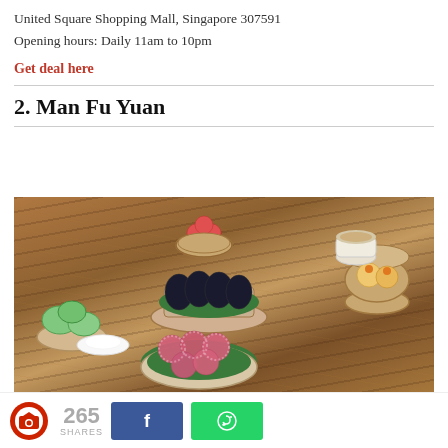United Square Shopping Mall, Singapore 307591
Opening hours: Daily 11am to 10pm
Get deal here
2. Man Fu Yuan
[Figure (photo): Overhead view of a dim sum spread on a wooden table featuring multiple dishes: red/pink mochi balls on a leaf, dark black swan-shaped dumplings on a plate, green crystal dumplings in a bamboo steamer, orange-yellow dumplings in a bamboo basket, pink dumplings in a bamboo steamer on top, teacups, and white plates arranged on a striped wooden surface.]
265 SHARES